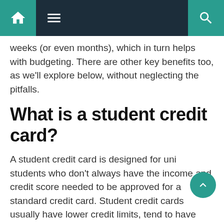Navigation bar with home, menu, and search icons
weeks (or even months), which in turn helps with budgeting. There are other key benefits too, as we'll explore below, without neglecting the pitfalls.
What is a student credit card?
A student credit card is designed for uni students who don't always have the income and credit score needed to be approved for a standard credit card. Student credit cards usually have lower credit limits, tend to have higher APRs and offer fewer rewards.
However, used in the right way, student credit cards can be a great way to manage your finances and build your credit score.
Why should you get a credit